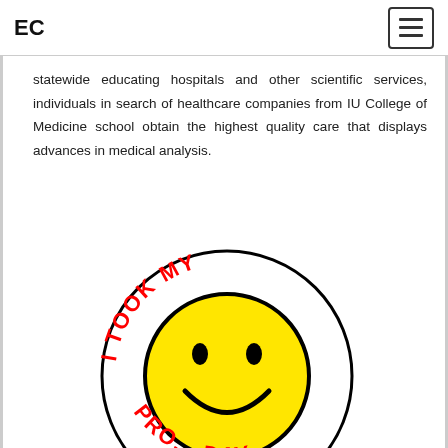EC
statewide educating hospitals and other scientific services, individuals in search of healthcare companies from IU College of Medicine school obtain the highest quality care that displays advances in medical analysis.
[Figure (illustration): A smiley face badge/button with red text arranged in a circle reading 'I TOOK MY PRO... DAY' around a yellow smiley face with black eyes and smile on white background with black outline border.]